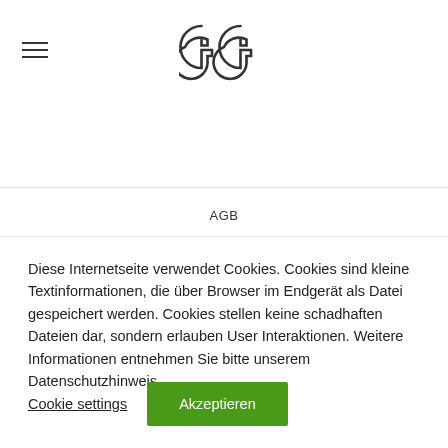GG logo with hamburger menu
AGB
Diese Internetseite verwendet Cookies. Cookies sind kleine Textinformationen, die über Browser im Endgerät als Datei gespeichert werden. Cookies stellen keine schadhaften Dateien dar, sondern erlauben User Interaktionen. Weitere Informationen entnehmen Sie bitte unserem Datenschutzhinweis
Cookie settings   Akzeptieren